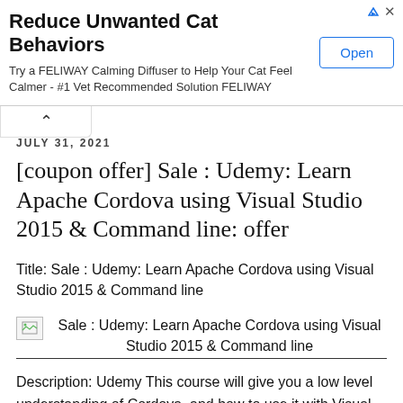[Figure (screenshot): Advertisement banner: 'Reduce Unwanted Cat Behaviors' - Try a FELIWAY Calming Diffuser to Help Your Cat Feel Calmer - #1 Vet Recommended Solution FELIWAY, with an Open button]
JULY 31, 2021
[coupon offer] Sale : Udemy: Learn Apache Cordova using Visual Studio 2015 & Command line: offer
Title: Sale : Udemy: Learn Apache Cordova using Visual Studio 2015 & Command line
[Figure (photo): Broken image placeholder with alt text: Sale : Udemy: Learn Apache Cordova using Visual Studio 2015 & Command line]
Description: Udemy This course will give you a low level understanding of Cordova, and how to use it with Visual